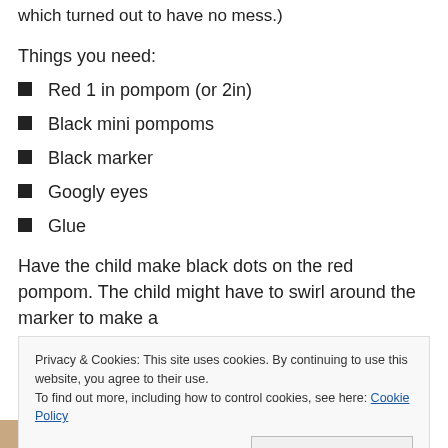which turned out to have no mess.)
Things you need:
Red 1 in pompom (or 2in)
Black mini pompoms
Black marker
Googly eyes
Glue
Have the child make black dots on the red pompom.  The child might have to swirl around the marker to make a
Privacy & Cookies: This site uses cookies. By continuing to use this website, you agree to their use.
To find out more, including how to control cookies, see here: Cookie Policy
[Figure (photo): Photo strip at bottom of page showing child craft activity]